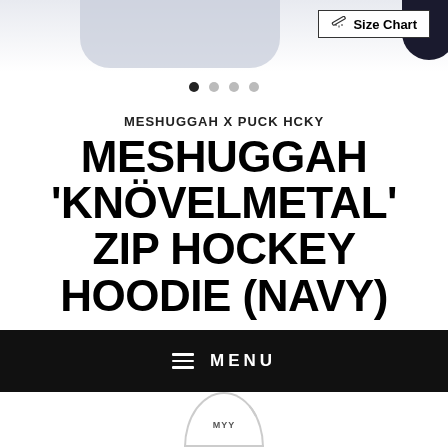[Figure (screenshot): Top portion of product image (navy hoodie) partially visible at top of page]
[Figure (other): Size Chart button with pencil icon, dark navy rounded corner element in top right]
[Figure (other): Carousel dots: 4 dots, first filled/active, rest gray]
MESHUGGAH X PUCK HCKY
MESHUGGAH 'KNÖVELMETAL' ZIP HOCKEY HOODIE (NAVY)
$ 64.99
Pay in 4 interest-free installments of $16.24 with
[Figure (other): Black menu bar with hamburger icon and MENU text]
[Figure (other): Bottom partial circle/button partially visible at very bottom]